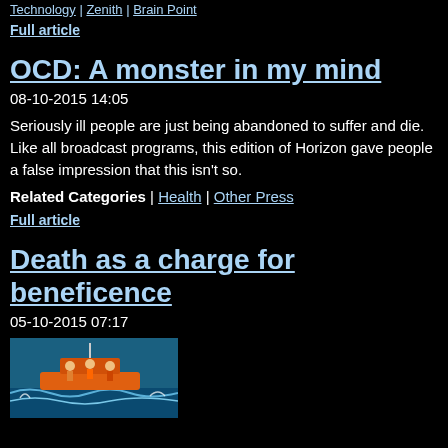Technology | Zenith | Brain Point
Full article
OCD: A monster in my mind
08-10-2015 14:05
Seriously ill people are just being abandoned to suffer and die. Like all broadcast programs, this edition of Horizon gave people a false impression that this isn't so.
Related Categories | Health | Other Press
Full article
Death as a charge for beneficence
05-10-2015 07:17
[Figure (photo): People on a boat in rough water, rescue scene]